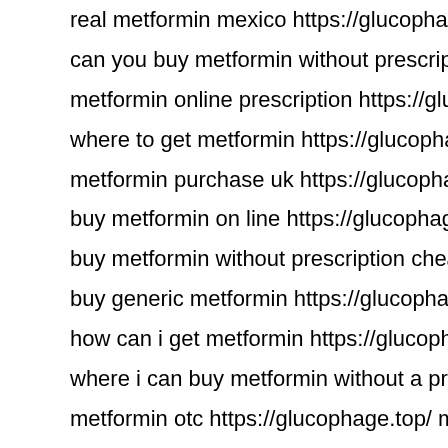real metformin mexico https://glucophage.top/ purchase metformin w
can you buy metformin without prescription https://glucophage.top/ b
metformin online prescription https://glucophage.top/ metformin 600
where to get metformin https://glucophage.top/ 60000 mg metformin
metformin purchase uk https://glucophage.top/ metformin drug
buy metformin on line https://glucophage.top/ cost of 1000mg metfo
buy metformin without prescription cheap https://glucophage.top/ or
buy generic metformin https://glucophage.top/ metformin 1000 mg p
how can i get metformin https://glucophage.top/ metformin price sing
where i can buy metformin without a prescription drugs https://gluco
metformin otc https://glucophage.top/ metformin 1000 mg
price of metformin in canada https://glucophage.top/ metformin with
metformin 3000 mg https://glucophage.top/ metformin 500 mg tablet
metformin buy online https://glucophage.top/ 1500 mg metformin